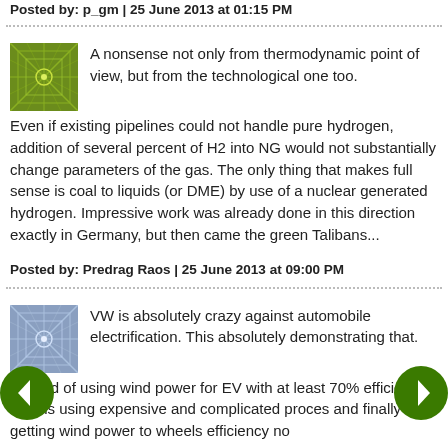Posted by: p_gm | 25 June 2013 at 01:15 PM
A nonsense not only from thermodynamic point of view, but from the technological one too. Even if existing pipelines could not handle pure hydrogen, addition of several percent of H2 into NG would not substantially change parameters of the gas. The only thing that makes full sense is coal to liquids (or DME) by use of a nuclear generated hydrogen. Impressive work was already done in this direction exactly in Germany, but then came the green Talibans...
Posted by: Predrag Raos | 25 June 2013 at 09:00 PM
VW is absolutely crazy against automobile electrification. This absolutely demonstrating that. Instead of using wind power for EV with at least 70% efficiency Audi is using expensive and complicated proces and finally getting wind power to wheels efficiency no